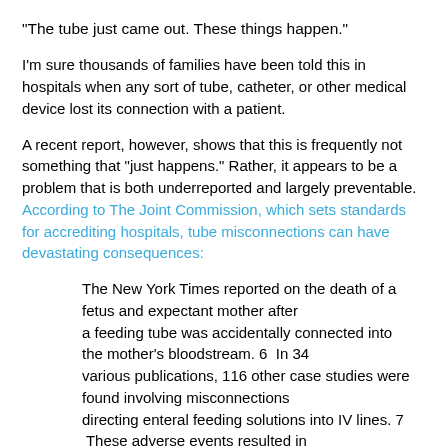"The tube just came out. These things happen."
I'm sure thousands of families have been told this in hospitals when any sort of tube, catheter, or other medical device lost its connection with a patient.
A recent report, however, shows that this is frequently not something that "just happens." Rather, it appears to be a problem that is both underreported and largely preventable. According to The Joint Commission, which sets standards for accrediting hospitals, tube misconnections can have devastating consequences:
The New York Times reported on the death of a fetus and expectant mother after a feeding tube was accidentally connected into the mother's bloodstream. 6  In 34 various publications, 116 other case studies were found involving misconnections directing enteral feeding solutions into IV lines. 7  These adverse events resulted in